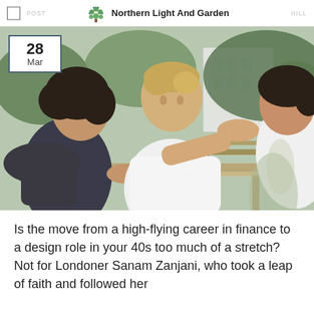Northern Light And Garden
[Figure (photo): Three people sitting at an outdoor wooden table in a park, engaged in conversation. A man in a white t-shirt gestures expressively, facing a woman with dark curly hair. A third person with dark hair is partially visible on the right. A date badge in the top-left reads '28 Mar'.]
Is the move from a high-flying career in finance to a design role in your 40s too much of a stretch? Not for Londoner Sanam Zanjani, who took a leap of faith and followed her into it here we'll get the lead held School of Design it